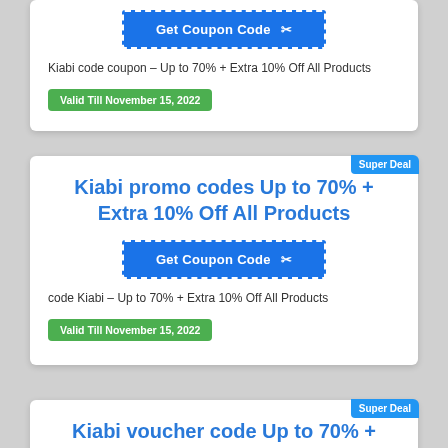[Figure (other): Get Coupon Code button with scissors icon, blue background, dashed white border]
Kiabi code coupon – Up to 70% + Extra 10% Off All Products
Valid Till November 15, 2022
Super Deal
Kiabi promo codes Up to 70% + Extra 10% Off All Products
[Figure (other): Get Coupon Code button with scissors icon, blue background, dashed white border]
code Kiabi – Up to 70% + Extra 10% Off All Products
Valid Till November 15, 2022
Super Deal
Kiabi voucher code Up to 70% + Extra